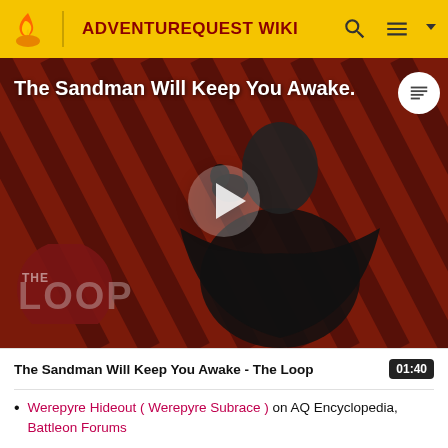ADVENTUREQUEST WIKI
[Figure (screenshot): Video thumbnail showing a dark-cloaked figure against a red diagonal-striped background with 'THE LOOP' text overlay and a play button in the center. Title overlay reads 'The Sandman Will Keep You Awake...']
The Sandman Will Keep You Awake - The Loop  01:40
Werepyre Hideout ( Werepyre Subrace ) on AQ Encyclopedia, Battleon Forums